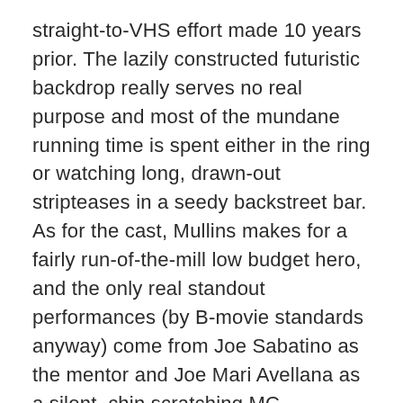straight-to-VHS effort made 10 years prior. The lazily constructed futuristic backdrop really serves no real purpose and most of the mundane running time is spent either in the ring or watching long, drawn-out stripteases in a seedy backstreet bar. As for the cast, Mullins makes for a fairly run-of-the-mill low budget hero, and the only real standout performances (by B-movie standards anyway) come from Joe Sabatino as the mentor and Joe Mari Avellana as a silent, chin scratching MC.
Luckily, 'Bloodfist 2050' does feature a few half decent fight scenes and it's clear that some effort was put into the choreography. In fact, I'd say perhaps a little too much effort as some of the fights feel so overly rehearsed and staged that they